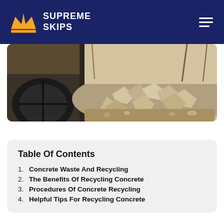SUPREME SKIPS
[Figure (photo): Construction scene with heavy machinery wheel on the left and a large pile of broken concrete rubble on the right, outdoor setting with bare trees in background.]
Table Of Contents
1. Concrete Waste And Recycling
2. The Benefits Of Recycling Concrete
3. Procedures Of Concrete Recycling
4. Helpful Tips For Recycling Concrete